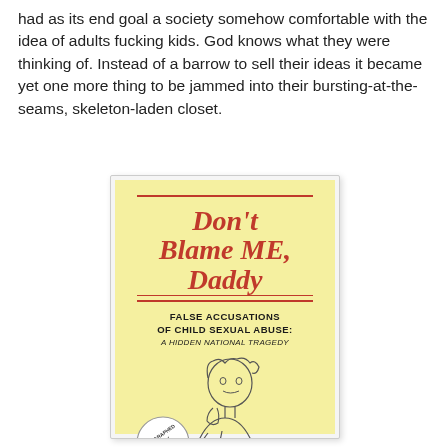had as its end goal a society somehow comfortable with the idea of adults fucking kids. God knows what they were thinking of. Instead of a barrow to sell their ideas it became yet one more thing to be jammed into their bursting-at-the-seams, skeleton-laden closet.
[Figure (photo): Book cover with yellow background. Title in red italic bold font: 'Don't Blame ME, Daddy' with horizontal lines above and below. Subtitle: 'FALSE ACCUSATIONS OF CHILD SEXUAL ABUSE: A HIDDEN NATIONAL TRAGEDY'. Below the subtitle is an illustration of a child resting their head on their hand. A circular stamp in the lower left reads 'AUTOGRAPHED COPY'.]